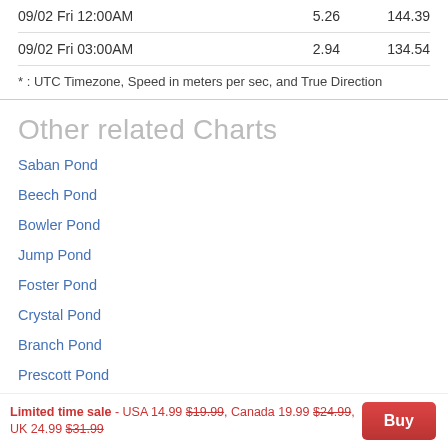| Date/Time | Speed | Direction |
| --- | --- | --- |
| 09/02 Fri 12:00AM | 5.26 | 144.39 |
| 09/02 Fri 03:00AM | 2.94 | 134.54 |
* : UTC Timezone, Speed in meters per sec, and True Direction
Other related Charts
Saban Pond
Beech Pond
Bowler Pond
Jump Pond
Foster Pond
Crystal Pond
Branch Pond
Prescott Pond
Limited time sale - USA 14.99 $19.99, Canada 19.99 $24.99, UK 24.99 $31.99  [Buy]